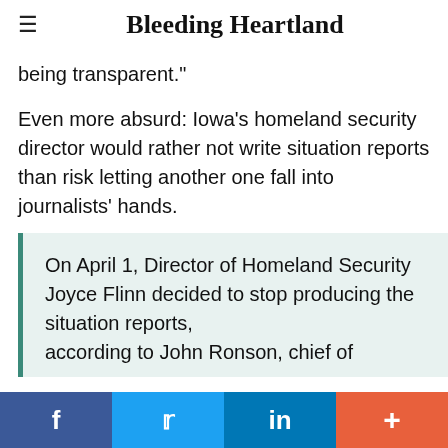≡  Bleeding Heartland
being transparent."
Even more absurd: Iowa's homeland security director would rather not write situation reports than risk letting another one fall into journalists' hands.
On April 1, Director of Homeland Security Joyce Flinn decided to stop producing the situation reports, according to John Ronson, chief of
f  🐦  in  +